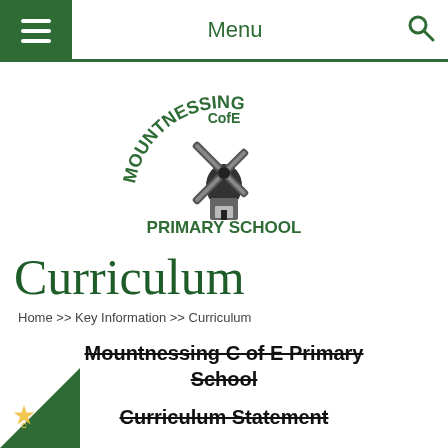Menu
[Figure (logo): Mountnessing CofE Primary School circular logo with windmill illustration and text 'MOUNTNESSING CofE PRIMARY SCHOOL' in green]
Curriculum
Home >> Key Information >> Curriculum
Mountnessing C of E Primary School Curriculum Statement